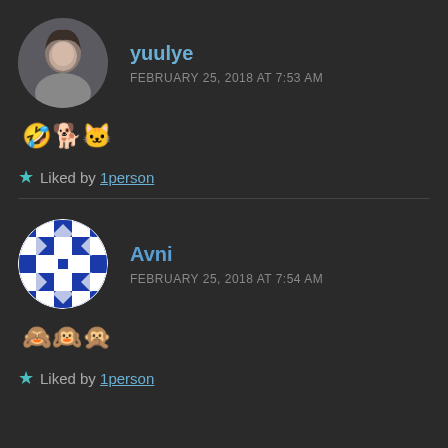yuulye
FEBRUARY 25, 2018 AT 7:53 AM
🤣🐕🐱
★ Liked by 1person
Avni
FEBRUARY 25, 2018 AT 7:54 AM
🙈🙉🙊
★ Liked by 1person